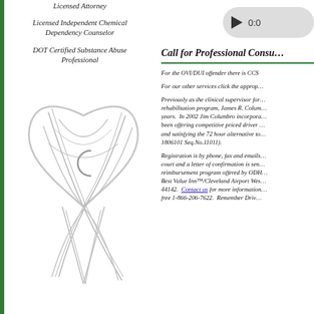Licensed Attorney
Licensed Independent Chemical Dependency Counselor
DOT Certified Substance Abuse Professional
[Figure (illustration): Stylized heart logo with overlapping ribbon lines and a cursive C letter in the center, rendered in gray tones]
Call for Professional Consu…
For the OVI/DUI offender there is CCS
For our other services click the approp…
Previously as the clinical supervisor for… rehabilitation program, James R. Colum… years.  In 2002 Jim Columbro incorpora… been offering competitive priced driver … and satisfying the 72 hour alternative to… 1806101 Seq.No.11011).
Registration is by phone, fax and emails… court and a letter of confirmation is sen… reimbursement program offered by ODH… Best Value Inn™/Cleveland Airport Wes… 44142. Contact us for more information… free 1-866-206-7622.  Remember Driv…